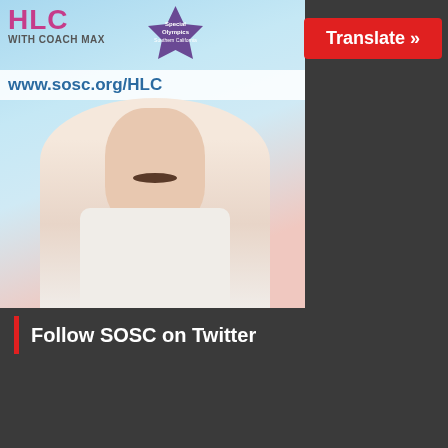[Figure (screenshot): Video thumbnail showing a man with a mustache wearing a white shirt, with HLC with Coach Max branding and www.sosc.org/HLC text on a blue background, and a red Translate button in the top right]
Follow SOSC on Twitter
[Figure (screenshot): Twitter widget showing Tweets from @SOSoCal with a Follow button, and a tweet from Special Olympics Southe... @S... 7h: We're tossing it all the way back to the 2010 Fall Games! with emojis, hashtags #WeAreSOSC #WayBackWednesday, and a partial photo of people at an event]